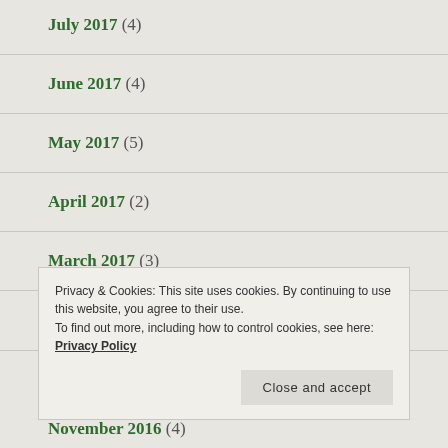July 2017 (4)
June 2017 (4)
May 2017 (5)
April 2017 (2)
March 2017 (3)
February 2017 (1)
Privacy & Cookies: This site uses cookies. By continuing to use this website, you agree to their use.
To find out more, including how to control cookies, see here: Privacy Policy
Close and accept
November 2016 (4)